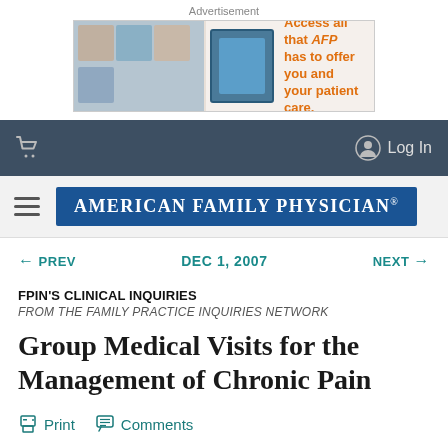Advertisement
[Figure (other): AFP advertisement banner: Access all that AFP has to offer you and your patient care.]
Navigation bar with shopping cart icon and Log In button
[Figure (logo): American Family Physician logo with hamburger menu]
← PREV   DEC 1, 2007   NEXT →
FPIN'S CLINICAL INQUIRIES
FROM THE FAMILY PRACTICE INQUIRIES NETWORK
Group Medical Visits for the Management of Chronic Pain
Print   Comments